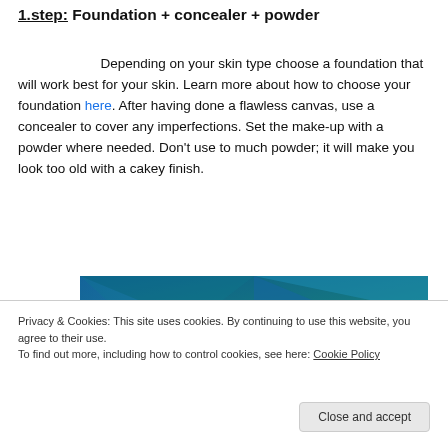1.step: Foundation + concealer + powder
Depending on your skin type choose a foundation that will work best for your skin. Learn more about how to choose your foundation here. After having done a flawless canvas, use a concealer to cover any imperfections. Set the make-up with a powder where needed. Don’t use to much powder; it will make you look too old with a cakey finish.
[Figure (photo): Partial view of a decorative blue geometric pattern image, partially obscured by cookie consent overlay]
Privacy & Cookies: This site uses cookies. By continuing to use this website, you agree to their use.
To find out more, including how to control cookies, see here: Cookie Policy
Close and accept